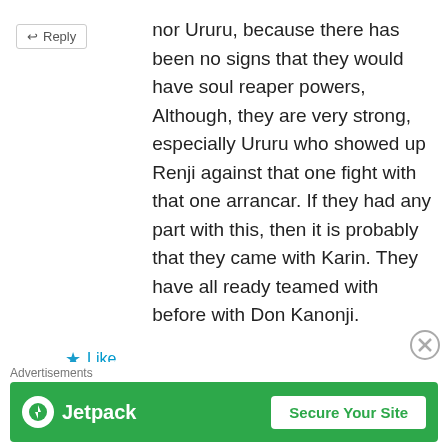nor Ururu, because there has been no signs that they would have soul reaper powers, Although, they are very strong, especially Ururu who showed up Renji against that one fight with that one arrancar. If they had any part with this, then it is probably that they came with Karin. They have all ready teamed with before with Don Kanonji.
★ Like
zla92
July 25, 2012 at 12:44 pm
So you think two kids tore apart the
Advertisements
[Figure (infographic): Jetpack advertisement banner with green background, Jetpack logo on the left, and 'Secure Your Site' white button on the right]